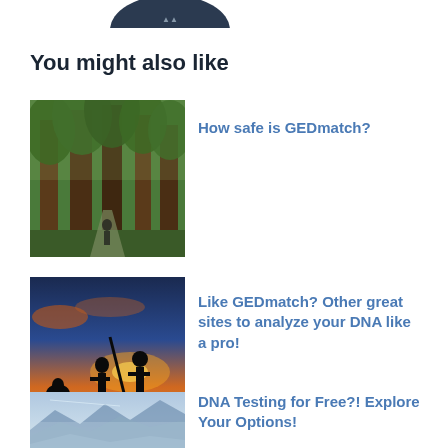[Figure (photo): Partial dark circular image at top of page, cut off]
You might also like
[Figure (photo): Forest with tall redwood trees and a person walking on a path]
How safe is GEDmatch?
[Figure (photo): Silhouettes of people against a sunset sky, one holding a walking stick]
Like GEDmatch? Other great sites to analyze your DNA like a pro!
[Figure (photo): Mountain landscape with misty blue hills and sky]
DNA Testing for Free?! Explore Your Options!